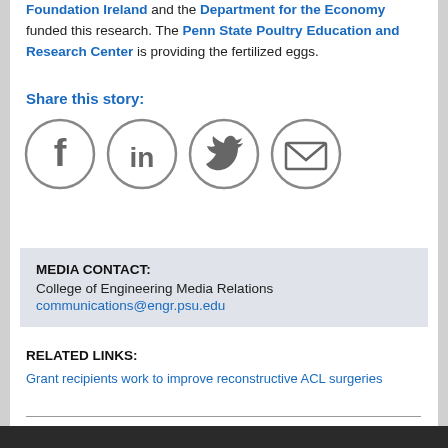Foundation Ireland and the Department for the Economy funded this research. The Penn State Poultry Education and Research Center is providing the fertilized eggs.
Share this story:
[Figure (illustration): Four circular social media icon buttons: Facebook, LinkedIn, Twitter, and Email]
MEDIA CONTACT:
College of Engineering Media Relations
communications@engr.psu.edu
RELATED LINKS:
Grant recipients work to improve reconstructive ACL surgeries